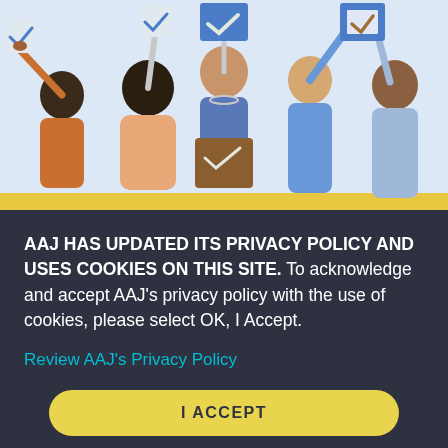[Figure (illustration): Colorful flat illustration of a diverse group of people holding signs with checkmarks and ballot boxes, representing voting or civic participation. Yellow horizontal stripe at bottom of illustration.]
AAJ HAS UPDATED ITS PRIVACY POLICY AND USES COOKIES ON THIS SITE. To acknowledge and accept AAJ's privacy policy with the use of cookies, please select OK, I Accept.
Review AAJ's Privacy Policy
I ACCEPT